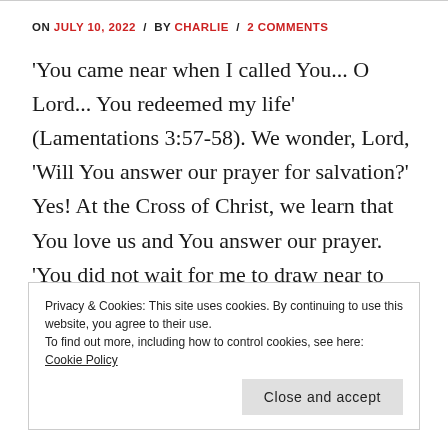ON JULY 10, 2022 / BY CHARLIE / 2 COMMENTS
'You came near when I called You... O Lord... You redeemed my life' (Lamentations 3:57-58). We wonder, Lord, 'Will You answer our prayer for salvation?' Yes! At the Cross of Christ, we learn that You love us and You answer our prayer. 'You did not wait for me to draw near to You, but You …
Privacy & Cookies: This site uses cookies. By continuing to use this website, you agree to their use.
To find out more, including how to control cookies, see here: Cookie Policy
Close and accept